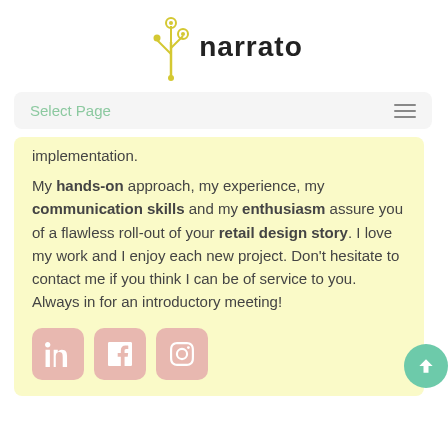[Figure (logo): Narrato logo with yellow stylized plant/fork icon and bold 'narrato' text]
Select Page
implementation.
My hands-on approach, my experience, my communication skills and my enthusiasm assure you of a flawless roll-out of your retail design story. I love my work and I enjoy each new project. Don't hesitate to contact me if you think I can be of service to you. Always in for an introductory meeting!
[Figure (illustration): Three social media icon buttons (LinkedIn, Facebook, Instagram) with salmon/pink rounded square backgrounds, and a teal circular scroll-to-top arrow button]